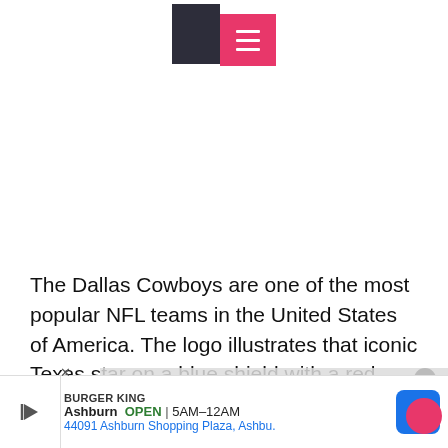[Figure (logo): Website navigation bar with dark rectangular logo block and pink/red hamburger menu button with three white lines]
The Dallas Cowboys are one of the most popular NFL teams in the United States of America. The logo illustrates that iconic Texas star on a blue shield with a red semi-circular border. A cowboy hat, football, and red team colours highlight this innovative marketing strategy for the number one ranked franchise in sports today.
[Figure (screenshot): Video player overlay showing 'No compatible source was found for this media.' error message on a grey semi-transparent background]
[Figure (other): Burger King advertisement banner showing location in Ashburn, OPEN 5AM-12AM, address 44091 Ashburn Shopping Plaza, Ashbu., with navigation map pin icon]